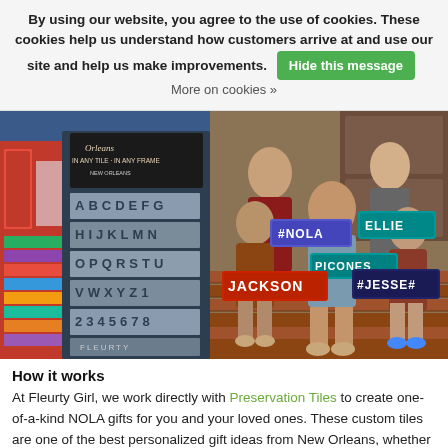By using our website, you agree to the use of cookies. These cookies help us understand how customers arrive at and use our site and help us make improvements. Hide this message More on cookies »
[Figure (photo): Two side-by-side photos: left shows a store display with letter tiles and colorful frames on shelves; right shows a family of four sitting on brick steps holding custom name signs including JACKSON, #JESSE#, #NOLA, ELLIE, and PICONES.]
How it works
At Fleurty Girl, we work directly with Preservation Tiles to create one-of-a-kind NOLA gifts for you and your loved ones. These custom tiles are one of the best personalized gift ideas from New Orleans, whether you're looking for a